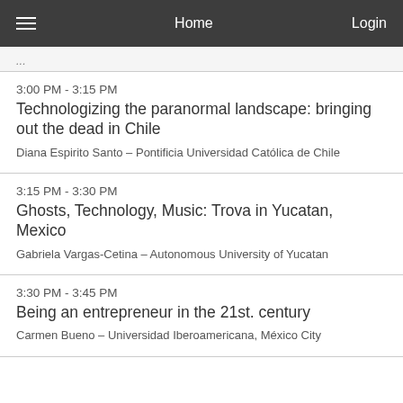Home   Login
3:00 PM - 3:15 PM
Technologizing the paranormal landscape: bringing out the dead in Chile
Diana Espirito Santo – Pontificia Universidad Católica de Chile
3:15 PM - 3:30 PM
Ghosts, Technology, Music: Trova in Yucatan, Mexico
Gabriela Vargas-Cetina – Autonomous University of Yucatan
3:30 PM - 3:45 PM
Being an entrepreneur in the 21st. century
Carmen Bueno – Universidad Iberoamericana, México City